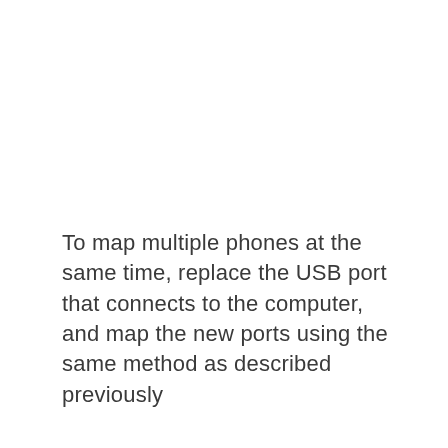To map multiple phones at the same time, replace the USB port that connects to the computer, and map the new ports using the same method as described previously